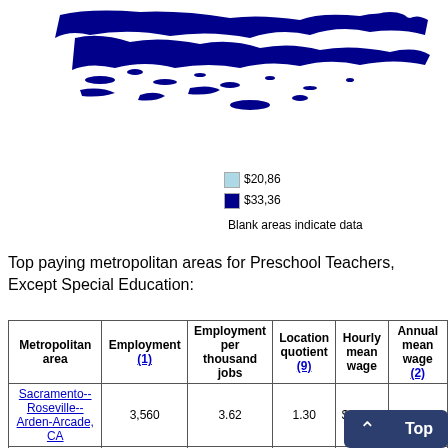[Figure (map): Partial map of US region showing geographic areas highlighted in blue tones for preschool teacher wages]
$20,86 (light blue legend) $33,36 (dark blue legend) Blank areas indicate data
Top paying metropolitan areas for Preschool Teachers, Except Special Education:
| Metropolitan area | Employment (1) | Employment per thousand jobs | Location quotient (9) | Hourly mean wage | Annual mean wage (2) |
| --- | --- | --- | --- | --- | --- |
| Sacramento--Roseville--Arden-Arcade, CA | 3,560 | 3.62 | 1.30 | $ 24.03 | $ 49,990 |
| Ocean City, NJ | 110 | 2.77 | 1.00 | $ 2... |  |
| Vineland--... |  |  |  |  | $ ... |